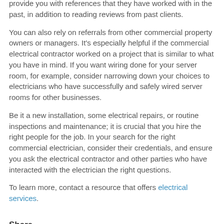provide you with references that they have worked with in the past, in addition to reading reviews from past clients.
You can also rely on referrals from other commercial property owners or managers. It's especially helpful if the commercial electrical contractor worked on a project that is similar to what you have in mind. If you want wiring done for your server room, for example, consider narrowing down your choices to electricians who have successfully and safely wired server rooms for other businesses.
Be it a new installation, some electrical repairs, or routine inspections and maintenance; it is crucial that you hire the right people for the job. In your search for the right commercial electrician, consider their credentials, and ensure you ask the electrical contractor and other parties who have interacted with the electrician the right questions.
To learn more, contact a resource that offers electrical services.
Share
[Figure (other): Social media share icons: Facebook, Twitter, Google+, LinkedIn]